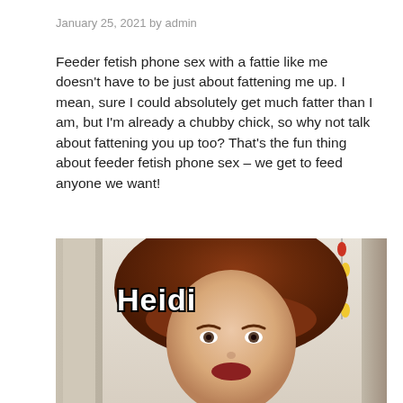January 25, 2021 by admin
Feeder fetish phone sex with a fattie like me doesn't have to be just about fattening me up. I mean, sure I could absolutely get much fatter than I am, but I'm already a chubby chick, so why not talk about fattening you up too? That's the fun thing about feeder fetish phone sex – we get to feed anyone we want!
[Figure (photo): Photo of a woman named Heidi with auburn hair and bangs, with text overlay 'Heidi' in white bold font with black outline. Background shows a room interior with a door frame and string lights.]